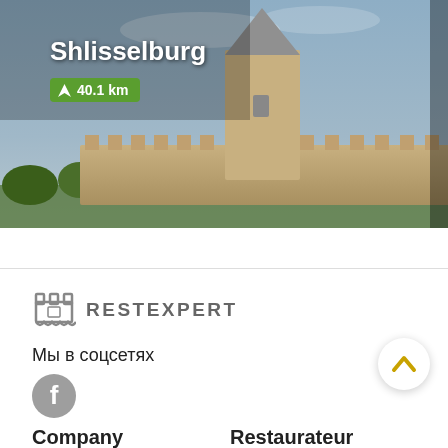[Figure (photo): Photo of Shlisselburg fortress/castle with stone tower and walls, cloudy sky background. Overlaid text shows 'Shlisselburg' and a green badge with navigation arrow and '40.1 km']
Shlisselburg
40.1 km
[Figure (logo): RestExpert logo: chess rook/crown icon in gray next to bold gray text 'RESTEXPERT']
Мы в соцсетях
[Figure (other): Facebook social media icon - gray circle with white F letter]
Company
Restaurateur
RestExpert в лицах
Add your restaurant
Partners
My account
Contacts
Наши услуги